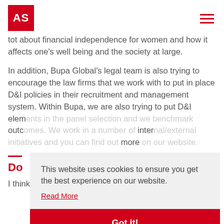AS
tot about financial independence for women and how it affects one's well being and the society at large.
In addition, Bupa Global's legal team is also trying to encourage the law firms that we work with to put in place D&I policies in their recruitment and management system. Within Bupa, we are also trying to put D&I elements in the panel selection and we benchmark outcomes. We work in a number of internal/external … more
Do
I think Bupa is doing well in terms of gender diversity, but
This website uses cookies to ensure you get the best experience on our website.
Read More
Got it!